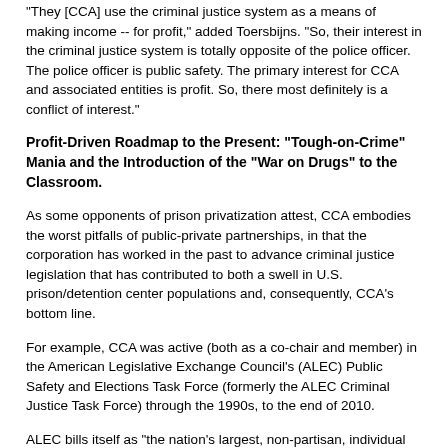"They [CCA] use the criminal justice system as a means of making income -- for profit," added Toersbijns. "So, their interest in the criminal justice system is totally opposite of the police officer. The police officer is public safety. The primary interest for CCA and associated entities is profit. So, there most definitely is a conflict of interest."
Profit-Driven Roadmap to the Present: "Tough-on-Crime" Mania and the Introduction of the "War on Drugs" to the Classroom.
As some opponents of prison privatization attest, CCA embodies the worst pitfalls of public-private partnerships, in that the corporation has worked in the past to advance criminal justice legislation that has contributed to both a swell in U.S. prison/detention center populations and, consequently, CCA's bottom line.
For example, CCA was active (both as a co-chair and member) in the American Legislative Exchange Council's (ALEC) Public Safety and Elections Task Force (formerly the ALEC Criminal Justice Task Force) through the 1990s, to the end of 2010.
ALEC bills itself as "the nation's largest, non-partisan, individual public-private membership association of state legislators," working toward the